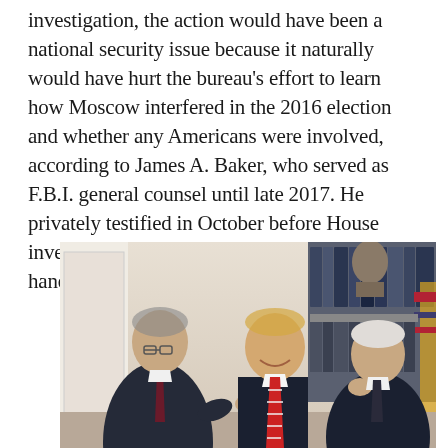investigation, the action would have been a national security issue because it naturally would have hurt the bureau's effort to learn how Moscow interfered in the 2016 election and whether any Americans were involved, according to James A. Baker, who served as F.B.I. general counsel until late 2017. He privately testified in October before House investigators who were examining the F.B.I.'s handling of the full Russia inquiry."
[Figure (photo): Three men standing together in what appears to be the White House Oval Office. On the left is a man in a dark suit with a dark tie, in the center is a taller man in a dark suit with a red and white striped tie smiling, and on the right is an older man in a dark suit. Bookshelves and a bust sculpture are visible in the background, along with a partial view of a flag.]